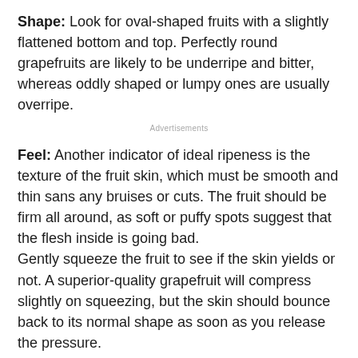Shape: Look for oval-shaped fruits with a slightly flattened bottom and top. Perfectly round grapefruits are likely to be underripe and bitter, whereas oddly shaped or lumpy ones are usually overripe.
Advertisements
Feel: Another indicator of ideal ripeness is the texture of the fruit skin, which must be smooth and thin sans any bruises or cuts. The fruit should be firm all around, as soft or puffy spots suggest that the flesh inside is going bad.
Gently squeeze the fruit to see if the skin yields or not. A superior-quality grapefruit will compress slightly on squeezing, but the skin should bounce back to its normal shape as soon as you release the pressure.
Color: As a general rule of thumb, a yellow rind suggests that the grapefruit has reached peak ripeness.